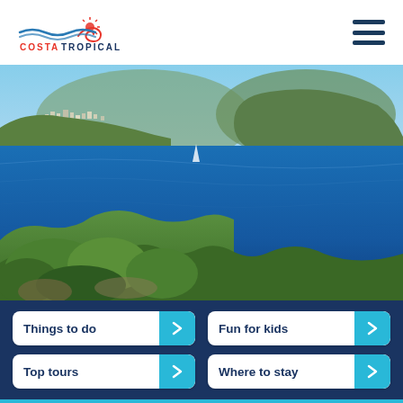[Figure (logo): Costa Tropical logo with wave and sun motif, text COSTATROPICAL below]
[Figure (photo): Panoramic coastal view of Costa Tropical, Spain — deep blue Mediterranean sea with green hillside foreground and town on hillside in background]
Things to do
Fun for kids
Top tours
Where to stay